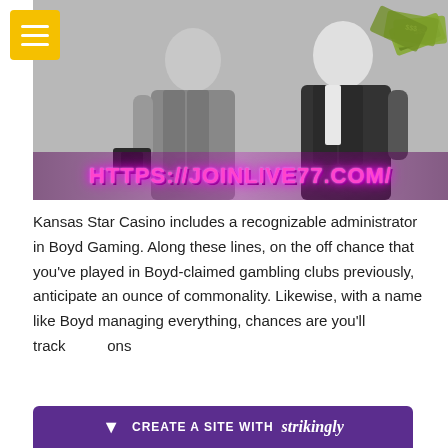[Figure (photo): Two people in suits: one holding an empty open wallet, the other holding a fan of cash money. Overlaid text reads HTTPS://JOINLIVE77.COM/ in pink neon glowing letters.]
Kansas Star Casino includes a recognizable administrator in Boyd Gaming. Along these lines, on the off chance that you've played in Boyd-claimed gambling clubs previously, anticipate an ounce of commonality. Likewise, with a name like Boyd managing everything, chances are you'll track ons
[Figure (other): Strikingly website builder promotional bar: purple background with arrow icon, text CREATE A SITE WITH strikingly]